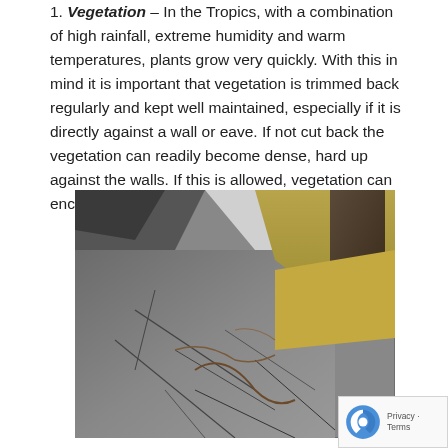1. Vegetation – In the Tropics, with a combination of high rainfall, extreme humidity and warm temperatures, plants grow very quickly. With this in mind it is important that vegetation is trimmed back regularly and kept well maintained, especially if it is directly against a wall or eave. If not cut back the vegetation can readily become dense, hard up against the walls. If this is allowed, vegetation can encourage moisture and mould.
[Figure (photo): Photograph showing cracked asphalt pavement with tree roots and dry grass near the base of a tree trunk]